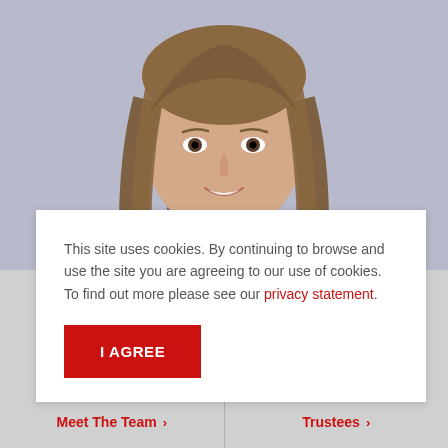[Figure (photo): Portrait photo of a smiling woman with long brown hair wearing a white blouse with dark leaf/teardrop print pattern. Background is light blue-gray/lavender.]
This site uses cookies. By continuing to browse and use the site you are agreeing to our use of cookies. To find out more please see our privacy statement.
I AGREE
Meet The Team ›
Trustees ›